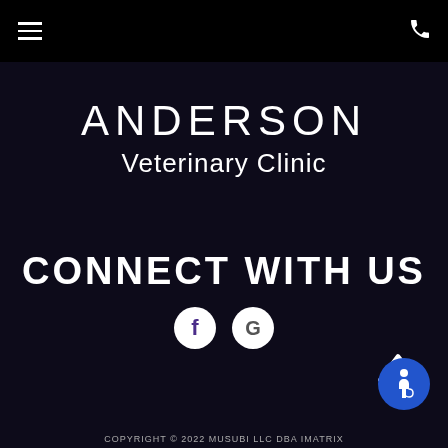Navigation bar with hamburger menu and phone icon
ANDERSON Veterinary Clinic
CONNECT WITH US
[Figure (logo): Facebook circle icon (f) and Google circle icon (G)]
[Figure (illustration): Up caret / back-to-top arrow]
[Figure (illustration): Accessibility icon - blue circle with wheelchair user symbol]
COPYRIGHT © 2022 MUSUBI LLC DBA IMATRIX